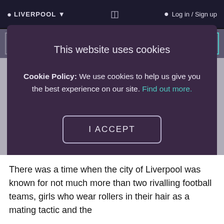📍 LIVERPOOL ▾   [icon]   🔵 Log in / Sign up
[Figure (screenshot): Cookie consent modal dialog on a website. Contains title 'This website uses cookies', body text about Cookie Policy with a 'Find out more' link, an 'I ACCEPT' button, and an 'I DO NOT ACCEPT' link.]
There was a time when the city of Liverpool was known for not much more than two rivalling football teams, girls who wear rollers in their hair as a mating tactic and the